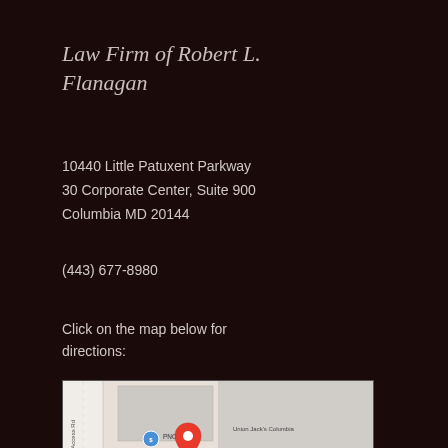Law Firm of Robert L. Flanagan
10440 Little Patuxent Parkway
30 Corporate Center, Suite 900
Columbia MD 20144
(443) 677-8980
Click on the map below for directions:
[Figure (map): Google Maps screenshot showing 10440 Little Patuxent Pkwy location with a red pin marker, nearby labels include PNC Bank, Union Jack's Columbia, and Little Patuxent Pkwy road label]